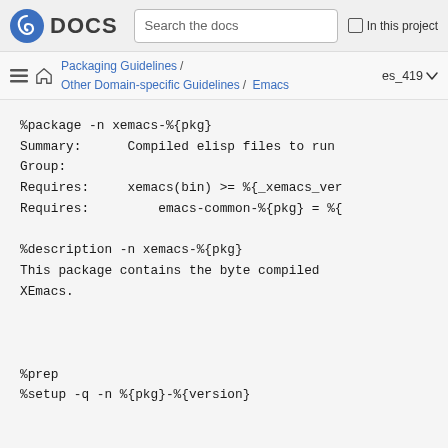Fedora DOCS | Search the docs | In this project
Packaging Guidelines / Other Domain-specific Guidelines / Emacs | es_419
%package -n xemacs-%{pkg}
Summary:      Compiled elisp files to run
Group:
Requires:     xemacs(bin) >= %{_xemacs_ver
Requires:         emacs-common-%{pkg} = %{

%description -n xemacs-%{pkg}
This package contains the byte compiled
XEmacs.


%prep
%setup -q -n %{pkg}-%{version}